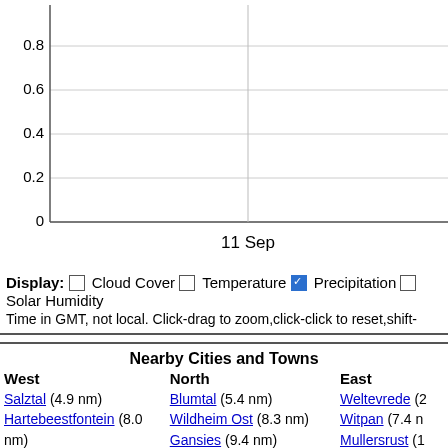[Figure (continuous-plot): Line chart showing precipitation data around 11 Sep. Y-axis from 0 to 0.8, gridlines at 0.2, 0.4, 0.6, 0.8. X-axis label: 11 Sep. Vertical divider around midpoint.]
Display: □ Cloud Cover □ Temperature ☑ Precipitation □ Solar Humidity
Time in GMT, not local. Click-drag to zoom,click-click to reset,shift-
Nearby Cities and Towns
| West | North | East |
| --- | --- | --- |
| Salztal (4.9 nm)
Hartebeestfontein (8.0 nm)
Swartputs (9.0 nm)
Hartebeestfontein (12.8 nm)
Averas (14.3 nm) | Blumtal (5.4 nm)
Wildheim Ost (8.3 nm)
Gansies (9.4 nm)
Lochkolk (10.7 nm)
Lochkolk A (13.1 nm)
Wildheim Wes (14.0 nm) | Weltevrede (2...
Witpan (7.4 n...
Mullersrust (1...
Vittoria (12.3... |